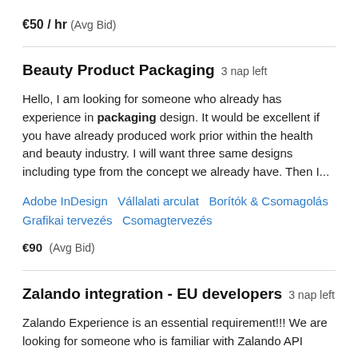€50 / hr  (Avg Bid)
Beauty Product Packaging  3 nap left
Hello, I am looking for someone who already has experience in packaging design. It would be excellent if you have already produced work prior within the health and beauty industry. I will want three same designs including type from the concept we already have. Then I...
Adobe InDesign  Vállalati arculat  Borítók & Csomagolás  Grafikai tervezés  Csomagtervezés
€90  (Avg Bid)
Zalando integration - EU developers  3 nap left
Zalando Experience is an essential requirement!!! We are looking for someone who is familiar with Zalando API